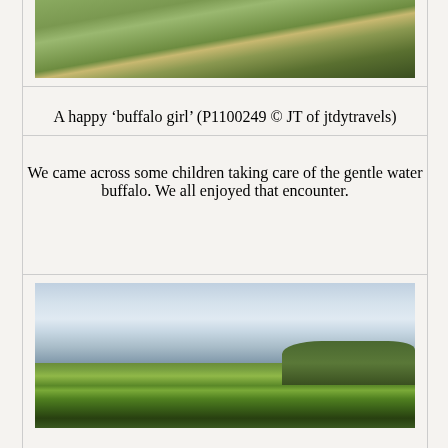[Figure (photo): Partial photo of a child with a water buffalo in a grassy field, cropped at the top of the page]
A happy ‘buffalo girl’ (P1100249 © JT of jtdytravels)
We came across some children taking care of the gentle water buffalo. We all enjoyed that encounter.
[Figure (photo): Landscape photo showing a choko vine on a bamboo frame with green agricultural fields and cloudy sky in the background]
A choko vine on a bamboo frame. (P1100256 © JT of